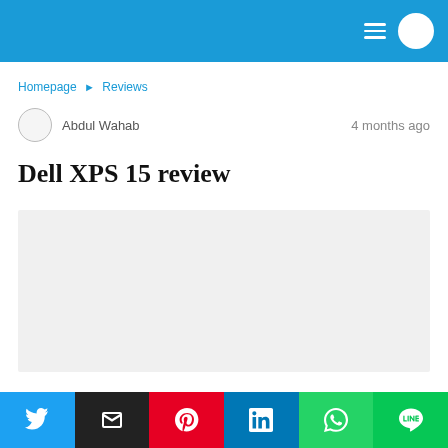Navigation bar with hamburger menu and avatar
Homepage ▶ Reviews
Abdul Wahab   4 months ago
Dell XPS 15 review
[Figure (photo): Light gray image placeholder for article hero image]
Social share buttons: Twitter, Email, Pinterest, LinkedIn, WhatsApp, LINE